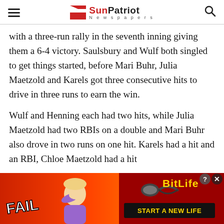SunPatriot Newspapers
with a three-run rally in the seventh inning giving them a 6-4 victory. Saulsbury and Wulf both singled to get things started, before Mari Buhr, Julia Maetzold and Karels got three consecutive hits to drive in three runs to earn the win.
Wulf and Henning each had two hits, while Julia Maetzold had two RBIs on a double and Mari Buhr also drove in two runs on one hit. Karels had a hit and an RBI, Chloe Maetzold had a hit
[Figure (photo): BitLife advertisement banner with FAIL text, animated character, flame, and 'START A NEW LIFE' call to action on red background]